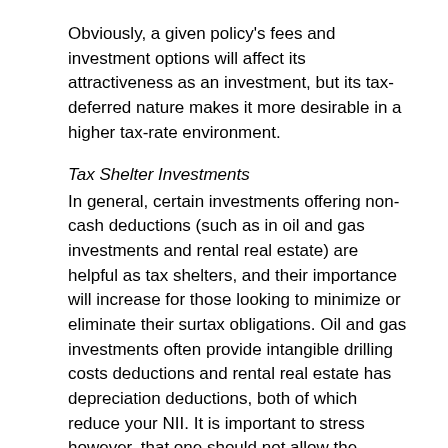Obviously, a given policy's fees and investment options will affect its attractiveness as an investment, but its tax-deferred nature makes it more desirable in a higher tax-rate environment.
Tax Shelter Investments
In general, certain investments offering non-cash deductions (such as in oil and gas investments and rental real estate) are helpful as tax shelters, and their importance will increase for those looking to minimize or eliminate their surtax obligations. Oil and gas investments often provide intangible drilling costs deductions and rental real estate has depreciation deductions, both of which reduce your NII. It is important to stress however, that one should not allow the increased tax rates to completely control the investment process. Tax efficiency should be just one of many factors you examine when selecting an investment and evaluating its merits within the context of your